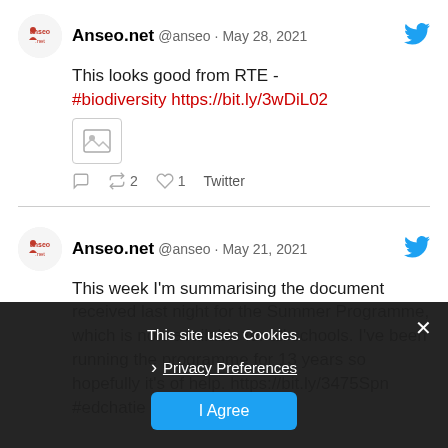Anseo.net @anseo · May 28, 2021
This looks good from RTE - #biodiversity https://bit.ly/3wDiL02
2 retweets, 1 like, Twitter
Anseo.net @anseo · May 21, 2021
This week I'm summarising the document received last night for the Summer Programme, which is now available for all schools. I've been running the programme for 13 years so hopefully it's of help. https://bit.ly/3475Spn #edchatie
This site uses Cookies.
Privacy Preferences
I Agree